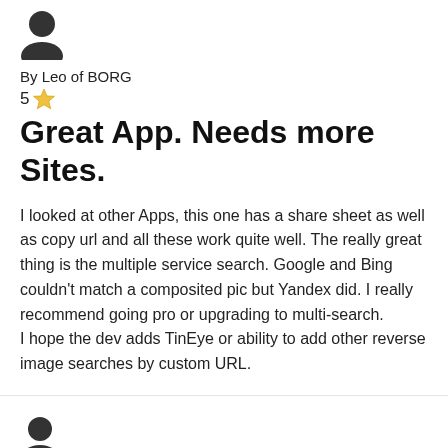[Figure (illustration): User avatar icon (silhouette of a person), black, for reviewer Leo of BORG]
By Leo of BORG
5 ★
Great App. Needs more Sites.
I looked at other Apps, this one has a share sheet as well as copy url and all these work quite well. The really great thing is the multiple service search. Google and Bing couldn't match a composited pic but Yandex did. I really recommend going pro or upgrading to multi-search.
I hope the dev adds TinEye or ability to add other reverse image searches by custom URL.
[Figure (illustration): User avatar icon (silhouette of a person), black, for reviewer JaromtheLeprechaun]
By JaromtheLeprechaun
5 ★